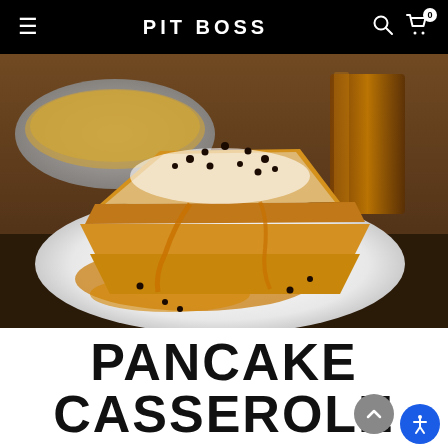PIT BOSS
[Figure (photo): A plate of pancake casserole slices stacked in a wedge shape, topped with powdered sugar, chocolate chips, and maple syrup drizzle. A pan and a glass of amber liquid are visible in the background.]
PANCAKE CASSEROLE